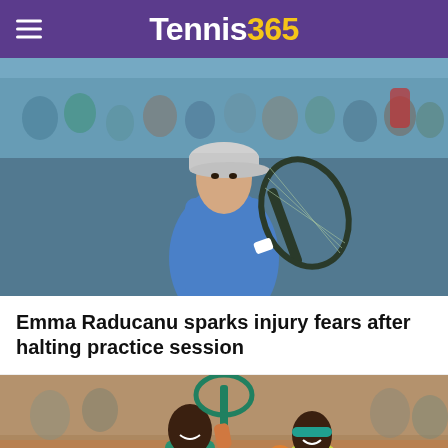Tennis365
[Figure (photo): Emma Raducanu in a blue tennis outfit holding a racket, with crowd in background]
Emma Raducanu sparks injury fears after halting practice session
[Figure (photo): Two tennis players on a clay court, one holding up a racket]